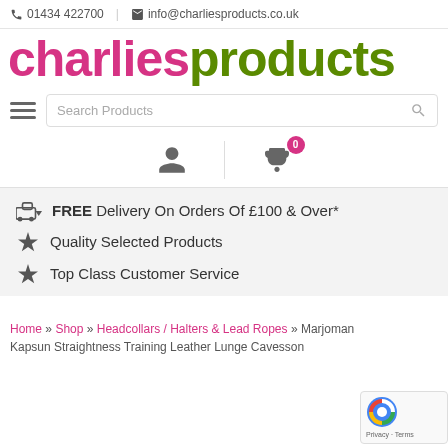📞 01434 422700 | ✉ info@charliesproducts.co.uk
charliesproducts
[Figure (screenshot): Search bar with hamburger menu icon and magnifying glass search icon]
[Figure (screenshot): User account icon and shopping cart icon with badge showing 0 items]
FREE Delivery On Orders Of £100 & Over*
Quality Selected Products
Top Class Customer Service
Home » Shop » Headcollars / Halters & Lead Ropes » Marjoman Kapsun Straightness Training Leather Lunge Cavesson